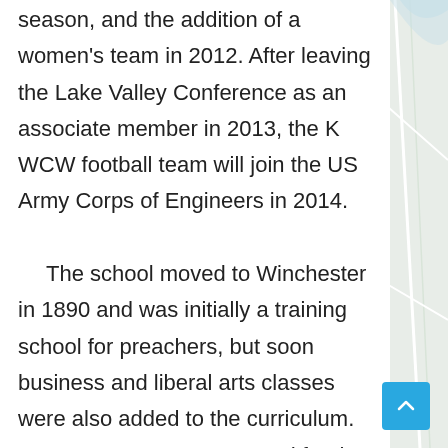season, and the addition of a women's team in 2012. After leaving the Lake Valley Conference as an associate member in 2013, the K WCW football team will join the US Army Corps of Engineers in 2014.

The school moved to Winchester in 1890 and was initially a training school for preachers, but soon business and liberal arts classes were also added to the curriculum. Soon women were accepted for the first time, and in 1890 the school moved to its present location in Winchester.